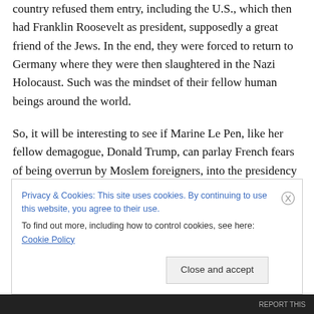country refused them entry, including the U.S., which then had Franklin Roosevelt as president, supposedly a great friend of the Jews. In the end, they were forced to return to Germany where they were then slaughtered in the Nazi Holocaust. Such was the mindset of their fellow human beings around the world.
So, it will be interesting to see if Marine Le Pen, like her fellow demagogue, Donald Trump, can parlay French fears of being overrun by Moslem foreigners, into the presidency of her country. If she does, it will have huge adverse consequences not only for Europe, and the EU
Privacy & Cookies: This site uses cookies. By continuing to use this website, you agree to their use.
To find out more, including how to control cookies, see here: Cookie Policy